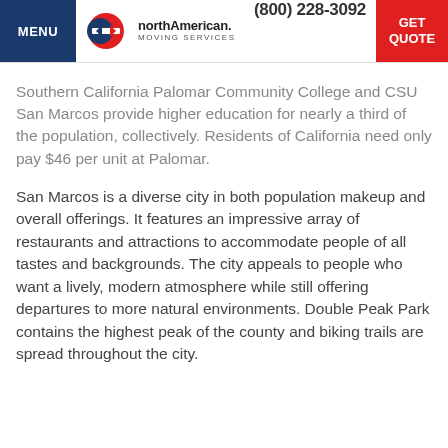MENU | northAmerican MOVING SERVICES | (800) 228-3092 | GET QUOTE
Southern California Palomar Community College and CSU San Marcos provide higher education for nearly a third of the population, collectively. Residents of California need only pay $46 per unit at Palomar.
San Marcos is a diverse city in both population makeup and overall offerings. It features an impressive array of restaurants and attractions to accommodate people of all tastes and backgrounds. The city appeals to people who want a lively, modern atmosphere while still offering departures to more natural environments. Double Peak Park contains the highest peak of the county and biking trails are spread throughout the city.